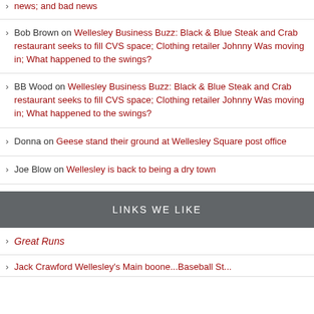Bob Brown on Wellesley Business Buzz: Black & Blue Steak and Crab restaurant seeks to fill CVS space; Clothing retailer Johnny Was moving in; What happened to the swings?
BB Wood on Wellesley Business Buzz: Black & Blue Steak and Crab restaurant seeks to fill CVS space; Clothing retailer Johnny Was moving in; What happened to the swings?
Donna on Geese stand their ground at Wellesley Square post office
Joe Blow on Wellesley is back to being a dry town
LINKS WE LIKE
Great Runs
[partial text cut off]